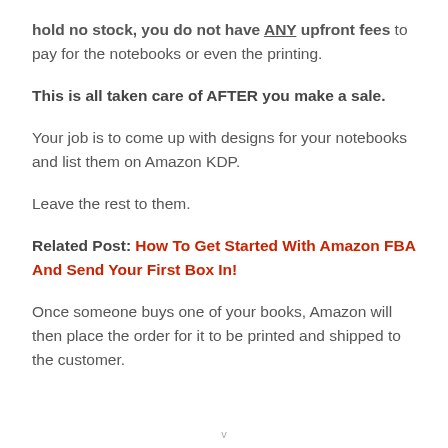hold no stock, you do not have ANY upfront fees to pay for the notebooks or even the printing.
This is all taken care of AFTER you make a sale.
Your job is to come up with designs for your notebooks and list them on Amazon KDP.
Leave the rest to them.
Related Post: How To Get Started With Amazon FBA And Send Your First Box In!
Once someone buys one of your books, Amazon will then place the order for it to be printed and shipped to the customer.
v